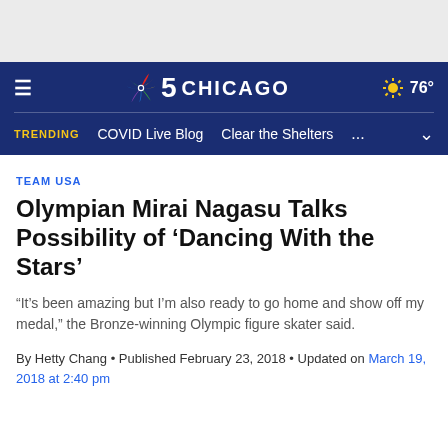NBC 5 Chicago — TRENDING: COVID Live Blog  Clear the Shelters  ...
TEAM USA
Olympian Mirai Nagasu Talks Possibility of 'Dancing With the Stars'
"It's been amazing but I'm also ready to go home and show off my medal," the Bronze-winning Olympic figure skater said.
By Hetty Chang • Published February 23, 2018 • Updated on March 19, 2018 at 2:40 pm